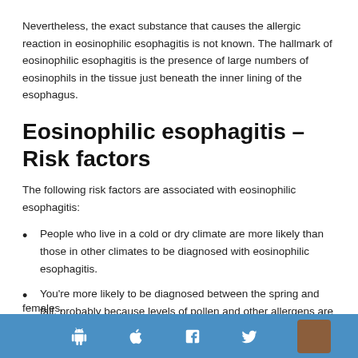Nevertheless, the exact substance that causes the allergic reaction in eosinophilic esophagitis is not known. The hallmark of eosinophilic esophagitis is the presence of large numbers of eosinophils in the tissue just beneath the inner lining of the esophagus.
Eosinophilic esophagitis – Risk factors
The following risk factors are associated with eosinophilic esophagitis:
People who live in a cold or dry climate are more likely than those in other climates to be diagnosed with eosinophilic esophagitis.
You're more likely to be diagnosed between the spring and fall, probably because levels of pollen and other allergens are higher and people are more prone to be outdoors.
Eosinophilic esophagitis is more common in males than in females.
females.